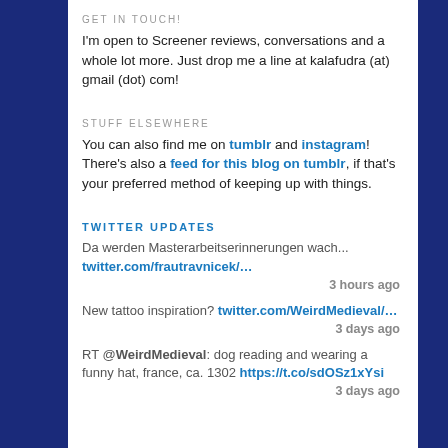GET IN TOUCH!
I'm open to Screener reviews, conversations and a whole lot more. Just drop me a line at kalafudra (at) gmail (dot) com!
STUFF ELSEWHERE
You can also find me on tumblr and instagram! There's also a feed for this blog on tumblr, if that's your preferred method of keeping up with things.
TWITTER UPDATES
Da werden Masterarbeitserinnerungen wach... twitter.com/frautravnicek/…
3 hours ago
New tattoo inspiration? twitter.com/WeirdMedieval/…
3 days ago
RT @WeirdMedieval: dog reading and wearing a funny hat, france, ca. 1302 https://t.co/sdOSz1xYsi
3 days ago